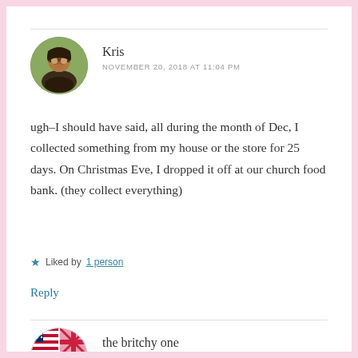[Figure (photo): Round avatar photo of Kris, a woman with glasses and dark hair outdoors with green background]
Kris
NOVEMBER 20, 2018 AT 11:04 PM
ugh–I should have said, all during the month of Dec, I collected something from my house or the store for 25 days. On Christmas Eve, I dropped it off at our church food bank. (they collect everything)
★ Liked by 1 person
Reply
[Figure (illustration): Round avatar combining US flag and UK flag quarters in a circle, representing the britchy one]
the britchy one
NOVEMBER 20, 2018 AT 11:13 PM